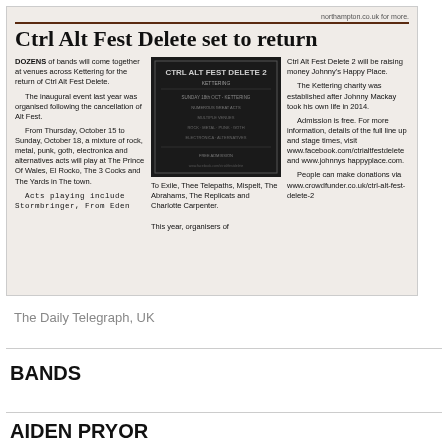[Figure (screenshot): Newspaper clipping of article titled 'Ctrl Alt Fest Delete set to return' from what appears to be a local UK newspaper. Contains three columns of text and a festival poster image in the middle column.]
The Daily Telegraph, UK
BANDS
AIDEN PRYOR